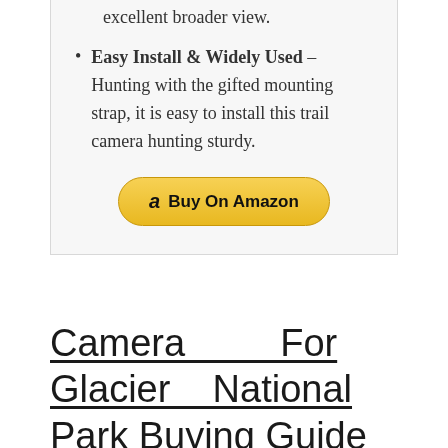excellent broader view.
Easy Install & Widely Used – Hunting with the gifted mounting strap, it is easy to install this trail camera hunting sturdy.
[Figure (other): Buy On Amazon button with Amazon logo]
Camera For Glacier National Park Buying Guide